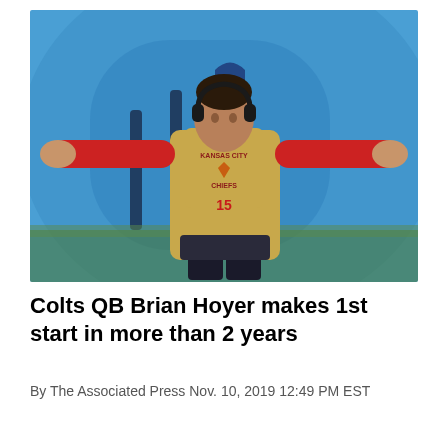[Figure (photo): Patrick Mahomes wearing Kansas City Chiefs #15 hoodie with arms outstretched, standing in front of a large Colts helmet mural background]
Colts QB Brian Hoyer makes 1st start in more than 2 years
By The Associated Press Nov. 10, 2019 12:49 PM EST